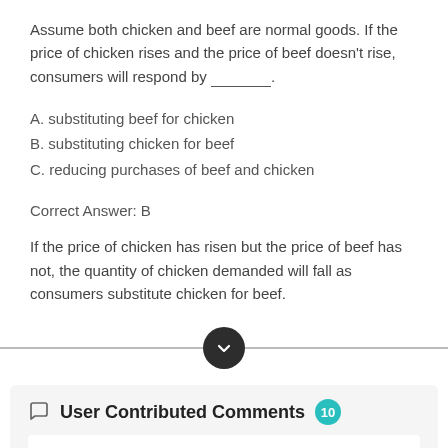Assume both chicken and beef are normal goods. If the price of chicken rises and the price of beef doesn't rise, consumers will respond by ______.
A. substituting beef for chicken
B. substituting chicken for beef
C. reducing purchases of beef and chicken
Correct Answer: B
If the price of chicken has risen but the price of beef has not, the quantity of chicken demanded will fall as consumers substitute chicken for beef.
User Contributed Comments 10